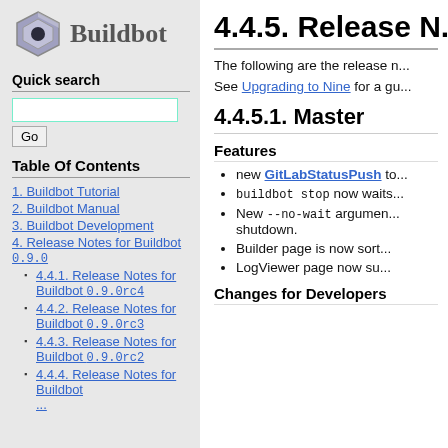[Figure (logo): Buildbot logo: hexagonal nut icon and 'Buildbot' text]
Quick search
Table Of Contents
1. Buildbot Tutorial
2. Buildbot Manual
3. Buildbot Development
4. Release Notes for Buildbot 0.9.0
4.4.1. Release Notes for Buildbot 0.9.0rc4
4.4.2. Release Notes for Buildbot 0.9.0rc3
4.4.3. Release Notes for Buildbot 0.9.0rc2
4.4.4. Release Notes for Buildbot ...
4.4.5. Release N...
The following are the release n...
See Upgrading to Nine for a gu...
4.4.5.1. Master
Features
new GitLabStatusPush to...
buildbot stop now waits...
New --no-wait argument shutdown.
Builder page is now sort...
LogViewer page now su...
Changes for Developers